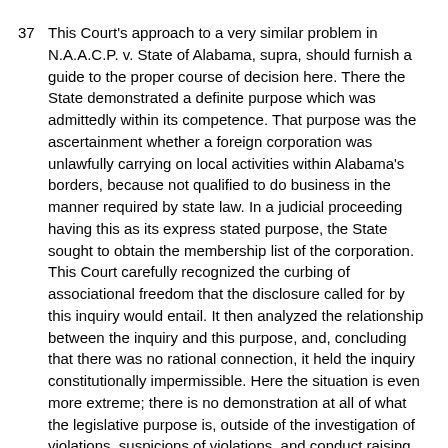37  This Court's approach to a very similar problem in N.A.A.C.P. v. State of Alabama, supra, should furnish a guide to the proper course of decision here. There the State demonstrated a definite purpose which was admittedly within its competence. That purpose was the ascertainment whether a foreign corporation was unlawfully carrying on local activities within Alabama's borders, because not qualified to do business in the manner required by state law. In a judicial proceeding having this as its express stated purpose, the State sought to obtain the membership list of the corporation. This Court carefully recognized the curbing of associational freedom that the disclosure called for by this inquiry would entail. It then analyzed the relationship between the inquiry and this purpose, and, concluding that there was no rational connection, it held the inquiry constitutionally impermissible. Here the situation is even more extreme; there is no demonstration at all of what the legislative purpose is, outside of the investigation of violations, suspicions of violations, and conduct raising some question of violation of an existing statute.9 It is anomalous to say, as I fear the Court says today, that the vaguer the State's interest is, the more laxly will the Court view the matter and indulge a presumption of the existence of a valid subordinating state interest. In effect, a roving investigation